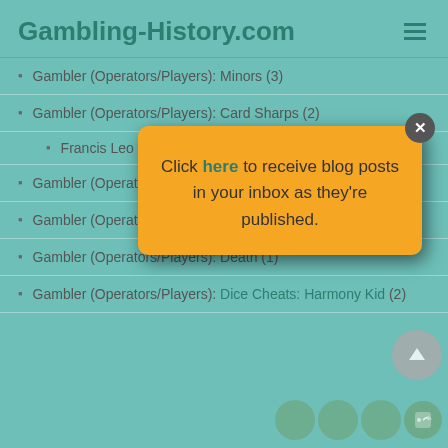Gambling-History.com
Gambler (Operators/Players): Minors (3)
Gambler (Operators/Players): Card Sharps (2)
Francis Leo Luc...
Gambler (Operators/Players): ... Buried In: Mountain View Cemetery (1)
[Figure (screenshot): Modal popup with yellow/orange background saying 'Click here to receive blog posts in your inbox as they're published.' with a close button (X) in the top right corner.]
Gambler (Operators/Players): Cheater: Jim Pents (1)
Gambler (Operators/Players): Death (1)
Gambler (Operators/Players): Dice Cheats: Harmony Kid (2)